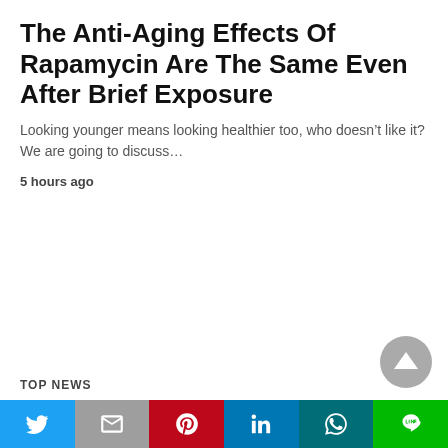The Anti-Aging Effects Of Rapamycin Are The Same Even After Brief Exposure
Looking younger means looking healthier too, who doesn't like it? We are going to discuss…
5 hours ago
TOP NEWS